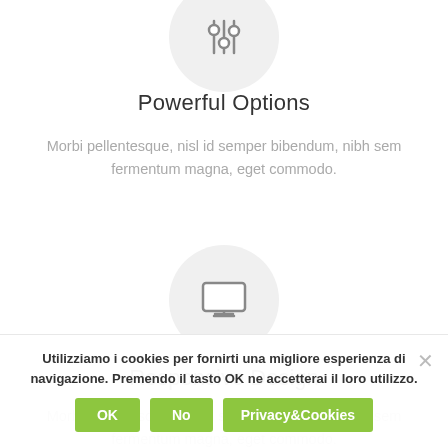[Figure (illustration): Sliders/controls icon inside a light gray circle at the top of the page]
Powerful Options
Morbi pellentesque, nisl id semper bibendum, nibh sem fermentum magna, eget commodo.
[Figure (illustration): Monitor/desktop screen icon inside a light gray circle]
Responsive Design
Morbi pellentesque, nisl id semper bibendum, nibh sem fermentum magna, eget commodo.
Utilizziamo i cookies per fornirti una migliore esperienza di navigazione. Premendo il tasto OK ne accetterai il loro utilizzo.
OK  No  Privacy&Cookies